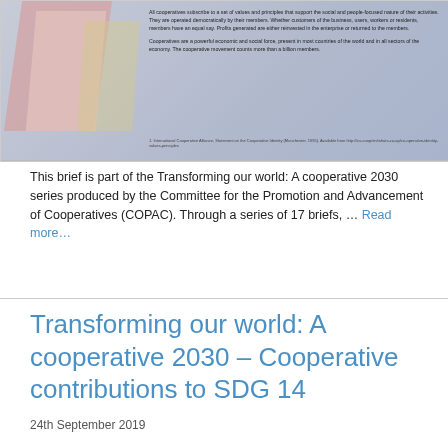[Figure (illustration): A decorative image with geometric shapes in pink, light pink, and yellow/gold against a gray-blue gradient background, with small text paragraphs about cooperatives and a footnote.]
This brief is part of the Transforming our world: A cooperative 2030 series produced by the Committee for the Promotion and Advancement of Cooperatives (COPAC). Through a series of 17 briefs, … Read more…
Transforming our world: A cooperative 2030 – Cooperative contributions to SDG 14
24th September 2019